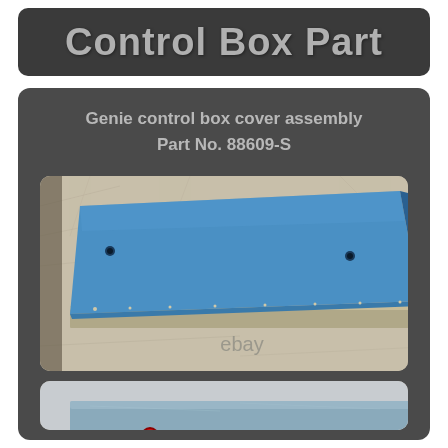Control Box Part
Genie control box cover assembly
Part No. 88609-S
[Figure (photo): Blue metal control box cover assembly part (Genie Part No. 88609-S) placed on crinkled silver/beige packaging material. The part is a flat blue rectangular metal plate with holes. An eBay watermark is visible at the bottom of the image.]
[Figure (photo): Partial view of a second image showing the back or another view of a blue/grey metal plate with a red dot/hole visible, on a light background. Image is partially cut off at bottom of page.]